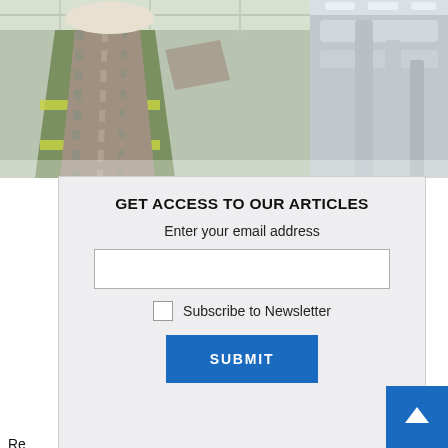[Figure (photo): Industrial/engineering photo showing a worker in a high-visibility vest and hard hat in an industrial facility, with pipes and ducts in the background]
GET ACCESS TO OUR ARTICLES
Enter your email address
Subscribe to Newsletter
SUBMIT
Renovation, Modernisation and Life Extension (LE) works are broadly defined as capital investments in operations, either on existing or new equipment from existing units. The Central Electricity Authority (CEA) has been mandating R&M/LE works for state-owned thermal power stations (TPSs), and the guidelines. Recently, in December, guidelines for R&M/LE works of coal/lignite-based thermal power stations (TPSs). In the revised guidelines, various provisions have been included to facilitate the R&M/LE of TPSs in view of the growing need to flexibilise operations and comply with the tightened emission norms.